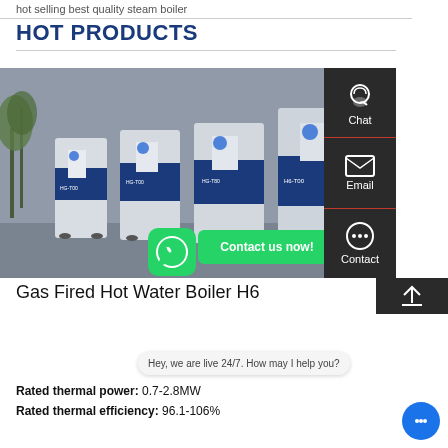hot selling best quality steam boiler
HOT PRODUCTS
[Figure (photo): Three blue and white gas-fired hot water boilers (model HB-T00) with WhatsApp contact button and 'Contact us now!' overlay]
Gas Fired Hot Water Boiler H6
Hey, we are live 24/7. How may I help you?
Rated thermal power: 0.7-2.8MW
Rated thermal efficiency: 96.1-106%